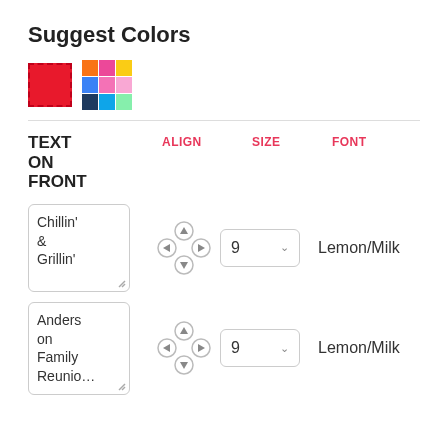Suggest Colors
[Figure (illustration): Color swatches: a red square with dashed border, and a 3x3 grid of colored squares (orange, pink, yellow, blue, pink, pink, dark blue, teal, light green)]
TEXT ON FRONT
ALIGN   SIZE   FONT
Chillin' & Grillin' [text box with directional pad, size dropdown showing 9, font Lemon/Milk]
Anderson Family Reunio... [text box with directional pad, size dropdown showing 9, font Lemon/Milk]